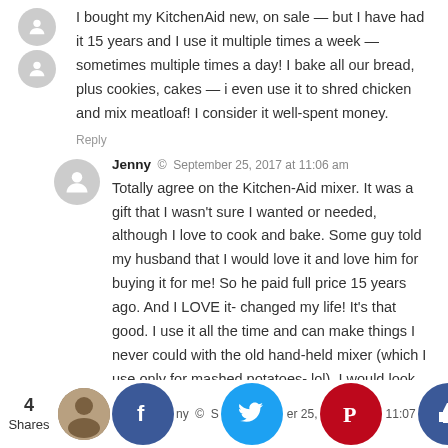I bought my KitchenAid new, on sale — but I have had it 15 years and I use it multiple times a week — sometimes multiple times a day! I bake all our bread, plus cookies, cakes — i even use it to shred chicken and mix meatloaf! I consider it well-spent money.
Reply
Jenny © September 25, 2017 at 11:06 am
Totally agree on the Kitchen-Aid mixer. It was a gift that I wasn't sure I wanted or needed, although I love to cook and bake. Some guy told my husband that I would love it and love him for buying it for me! So he paid full price 15 years ago. And I LOVE it- changed my life! It's that good. I use it all the time and can make things I never could with the old hand-held mixer (which I use only for mashed potatoes- lol). I would look all around and find a way to not pay full price, but I highly recommend them.
Reply
4 Shares